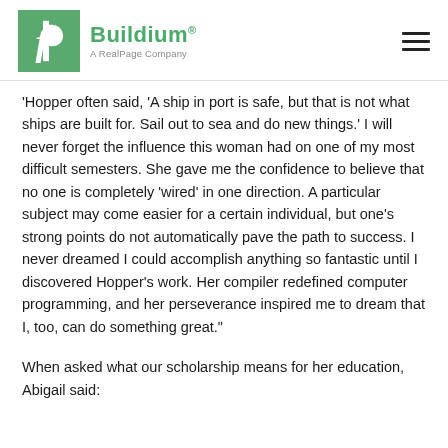Buildium® A RealPage Company
'Hopper often said, 'A ship in port is safe, but that is not what ships are built for. Sail out to sea and do new things.' I will never forget the influence this woman had on one of my most difficult semesters. She gave me the confidence to believe that no one is completely 'wired' in one direction. A particular subject may come easier for a certain individual, but one's strong points do not automatically pave the path to success. I never dreamed I could accomplish anything so fantastic until I discovered Hopper's work. Her compiler redefined computer programming, and her perseverance inspired me to dream that I, too, can do something great."
When asked what our scholarship means for her education, Abigail said: